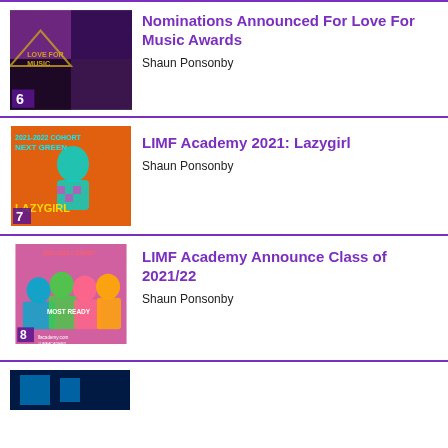[Figure (photo): Thumbnail image for article 6: Love For Music Awards, dark purple toned collage with music imagery and 'LOVE FOR MUSIC' text, number 6 badge at bottom left]
Nominations Announced For Love For Music Awards
Shaun Ponsonby
[Figure (photo): Thumbnail image for article 7: LIMF Academy 2021 Lazygirl, orange background with cyan illustrated female figure and 'LAZYGIRL' text, 2021-2022 COHORT text, number 7 badge]
LIMF Academy 2021: Lazygirl
Shaun Ponsonby
[Figure (photo): Thumbnail image for article 8: LIMF Academy class of 2021/22, pink background with group of illustrated young people, 2021-2022 COHORT and lfacademy.com text, number 8 badge]
LIMF Academy Announce Class of 2021/22
Shaun Ponsonby
[Figure (photo): Thumbnail image for article 9 (partial): dark blue/teal background, partially visible]